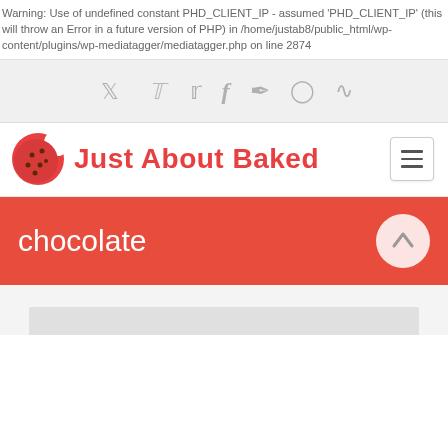Warning: Use of undefined constant PHD_CLIENT_IP - assumed 'PHD_CLIENT_IP' (this will throw an Error in a future version of PHP) in /home/justab8/public_html/wp-content/plugins/wp-mediatagger/mediatagger.php on line 2874
[Figure (other): Social media icons bar with Twitter, Facebook, Pinterest, Instagram, and RSS icons in gray on light gray background]
[Figure (logo): Just About Baked logo with a red cookie icon and red bold text reading 'Just About Baked', with a hamburger menu button on the right]
chocolate
[Figure (photo): Partial view of a photo at the bottom of the page, content not visible]